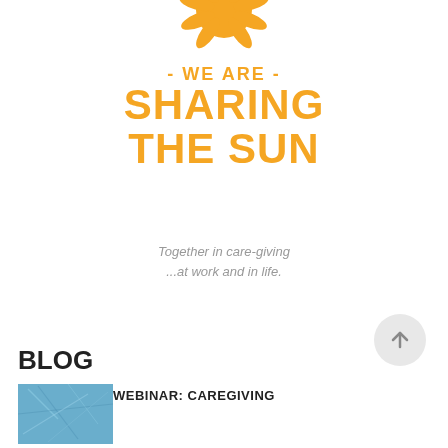[Figure (logo): Sun logo graphic with orange rays and droplets at top, partially cropped]
- WE ARE - SHARING THE SUN
Together in care-giving
...at work and in life.
[Figure (other): Circular scroll-to-top button with upward arrow]
BLOG
[Figure (photo): Blue/teal photo thumbnail for blog post]
WEBINAR: CAREGIVING